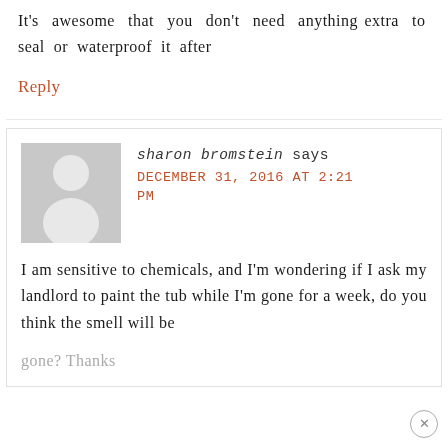It's awesome that you don't need anything extra to seal or waterproof it after
Reply
sharon bromstein says
DECEMBER 31, 2016 AT 2:21 PM
I am sensitive to chemicals, and I'm wondering if I ask my landlord to paint the tub while I'm gone for a week, do you think the smell will be gone? Thanks